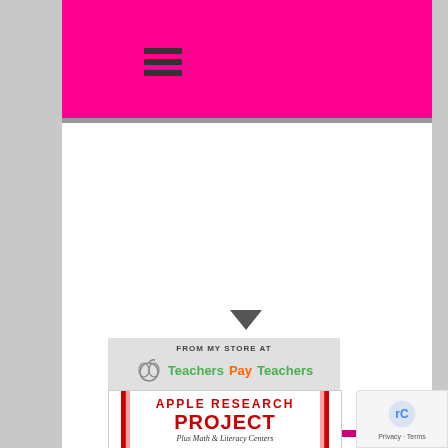Navigation hamburger menu on pink header bar
SHOP FOR OUR PRODUCTS!
[Figure (logo): Teachers Pay Teachers logo with apple icon and text 'FROM MY STORE AT Teachers Pay Teachers']
[Figure (illustration): Apple Research Project product card - Plus Math & Literacy Centers, with red apple image and red vertical stripes]
Privacy - Terms